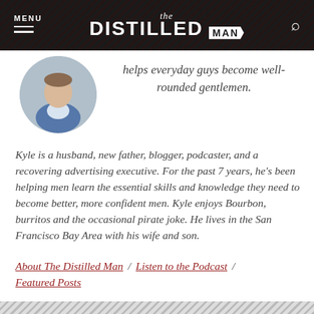MENU | The Distilled Man | [search]
[Figure (photo): Circular profile photo of a man in a blue blazer and light shirt]
helps everyday guys become well-rounded gentlemen.
Kyle is a husband, new father, blogger, podcaster, and a recovering advertising executive. For the past 7 years, he's been helping men learn the essential skills and knowledge they need to become better, more confident men. Kyle enjoys Bourbon, burritos and the occasional pirate joke. He lives in the San Francisco Bay Area with his wife and son.
About The Distilled Man / Listen to the Podcast / Featured Posts